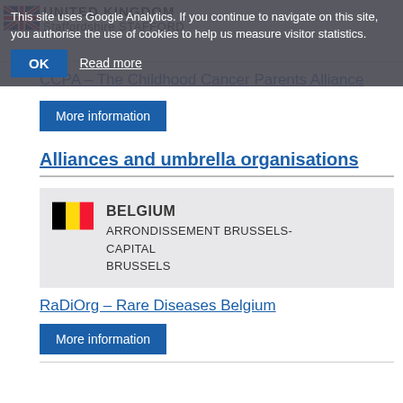UNITED KINGDOM
Staffordshire STAFFORD
This site uses Google Analytics. If you continue to navigate on this site, you authorise the use of cookies to help us measure visitor statistics.
CCPA – The Childhood Cancer Parents Alliance
More information
Alliances and umbrella organisations
BELGIUM
ARRONDISSEMENT BRUSSELS-CAPITAL
BRUSSELS
RaDiOrg – Rare Diseases Belgium
More information